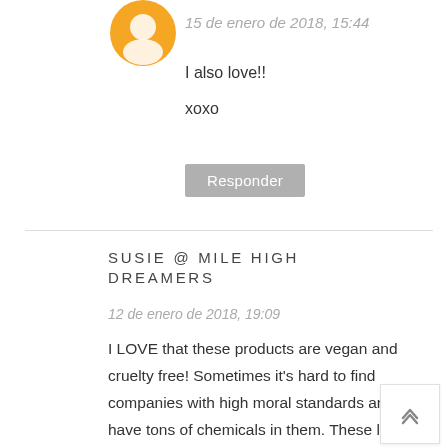[Figure (illustration): Orange circular avatar/profile icon, partially visible at top]
15 de enero de 2018, 15:44
I also love!!
xoxo
Responder
SUSIE @ MILE HIGH DREAMERS
12 de enero de 2018, 19:09
I LOVE that these products are vegan and cruelty free! Sometimes it's hard to find companies with high moral standards and don't have tons of chemicals in them. These look amazing. I want the Tarte one N Thanks so much for the perfect